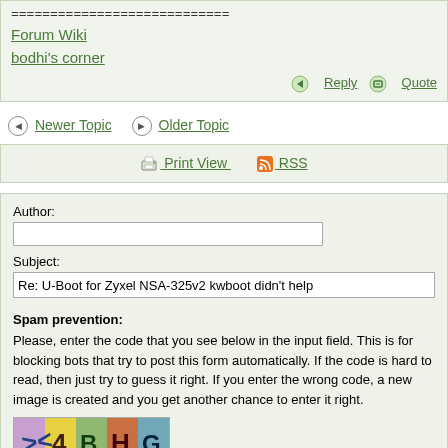============================
Forum Wiki
bodhi's corner
Reply   Quote
◀ Newer Topic   ▶ Older Topic
Print View   RSS
Author:
Subject:
Re: U-Boot for Zyxel NSA-325v2 kwboot didn't help
Spam prevention:
Please, enter the code that you see below in the input field. This is for blocking bots that try to post this form automatically. If the code is hard to read, then just try to guess it right. If you enter the wrong code, a new image is created and you get another chance to enter it right.
[Figure (photo): CAPTCHA image with distorted colored characters]